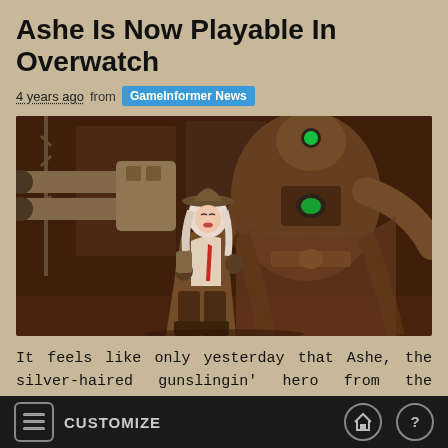Ashe Is Now Playable In Overwatch
4 years ago from GameInformer News
[Figure (photo): Screenshot from Overwatch showing Ashe, a silver-haired female hero in a cowboy hat and brown coat, holding a rifle, alongside B.O.B., a large robotic butler in a brown coat with green glowing eyes, against a rusty industrial background.]
It feels like only yesterday that Ashe, the silver-haired gunslingin' hero from the southwest, was announced for